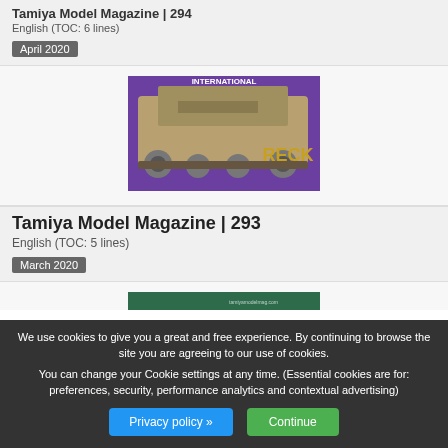Tamiya Model Magazine | 294
English (TOC: 6 lines)
April 2020
[Figure (photo): Magazine cover showing a military half-track vehicle model, partially visible, with text 'INTERNATIONAL' and 'RECK' visible on a purple background]
Tamiya Model Magazine | 293
English (TOC: 5 lines)
March 2020
[Figure (photo): Magazine cover showing a weathered tank model numbered 322 in red lettering, with visible tracks and green background]
We use cookies to give you a great and free experience. By continuing to browse the site you are agreeing to our use of cookies.
You can change your Cookie settings at any time. (Essential cookies are for: preferences, security, performance analytics and contextual advertising)
Privacy policy »
Continue